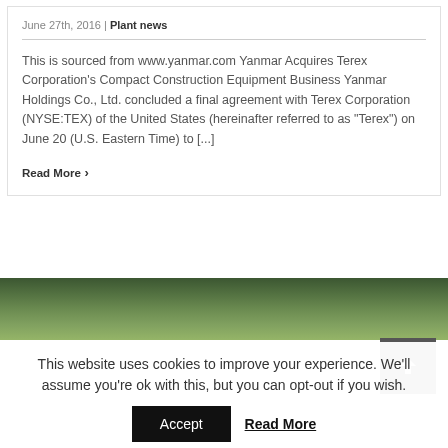June 27th, 2016 | Plant news
This is sourced from www.yanmar.com Yanmar Acquires Terex Corporation's Compact Construction Equipment Business Yanmar Holdings Co., Ltd. concluded a final agreement with Terex Corporation (NYSE:TEX) of the United States (hereinafter referred to as "Terex") on June 20 (U.S. Eastern Time) to [...]
Read More
[Figure (photo): Landscape photo showing a green field with trees in the background and misty sky]
This website uses cookies to improve your experience. We'll assume you're ok with this, but you can opt-out if you wish.
Accept
Read More